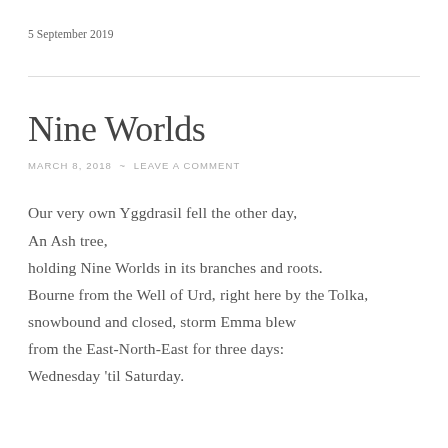5 September 2019
Nine Worlds
MARCH 8, 2018  ~  LEAVE A COMMENT
Our very own Yggdrasil fell the other day,
An Ash tree,
holding Nine Worlds in its branches and roots.
Bourne from the Well of Urd, right here by the Tolka,
snowbound and closed, storm Emma blew
from the East-North-East for three days:
Wednesday 'til Saturday.